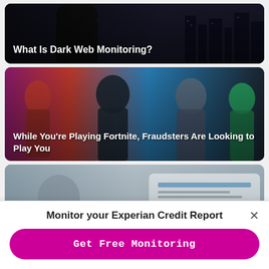[Figure (photo): Dark background with city skyline and shadowy figure, article thumbnail for 'What Is Dark Web Monitoring?']
What Is Dark Web Monitoring?
[Figure (photo): Fortnite game characters (animated superhero figures) against a blue background, article thumbnail]
While You’re Playing Fortnite, Fraudsters Are Looking to Play You
[Figure (photo): Person holding a tablet showing a credit report document, article thumbnail]
Unrecognized Inquiries and Fraud
Monitor your Experian Credit Report
Get Free Monitoring